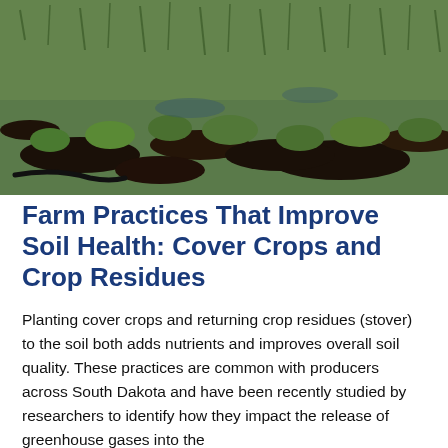[Figure (photo): Aerial/ground-level photograph of a field with green cover crops or grass growing in rows, with patches of bare or wet dark soil visible between the vegetation.]
Farm Practices That Improve Soil Health: Cover Crops and Crop Residues
Planting cover crops and returning crop residues (stover) to the soil both adds nutrients and improves overall soil quality. These practices are common with producers across South Dakota and have been recently studied by researchers to identify how they impact the release of greenhouse gases into the